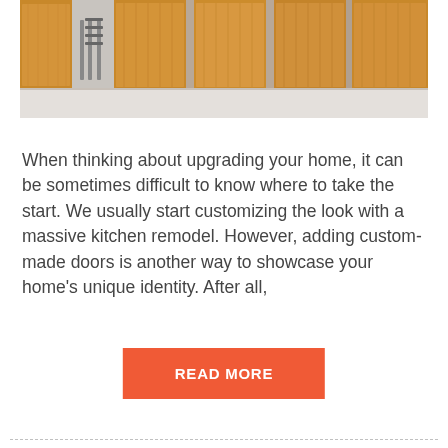[Figure (photo): A row of wooden sliding/folding doors in warm oak tones, partially open revealing a modern interior hallway with a white floor. Multiple door panels are visible side by side.]
When thinking about upgrading your home, it can be sometimes difficult to know where to take the start. We usually start customizing the look with a massive kitchen remodel. However, adding custom-made doors is another way to showcase your home’s unique identity. After all,